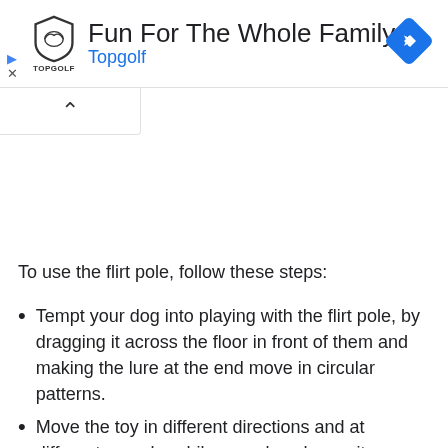[Figure (screenshot): Topgolf advertisement banner with logo, 'Fun For The Whole Family' headline, 'Topgolf' subtitle in blue, navigation arrow icon, play and close controls]
To use the flirt pole, follow these steps:
Tempt your dog into playing with the flirt pole, by dragging it across the floor in front of them and making the lure at the end move in circular patterns.
Move the toy in different directions and at different speeds, while your dog chases it.